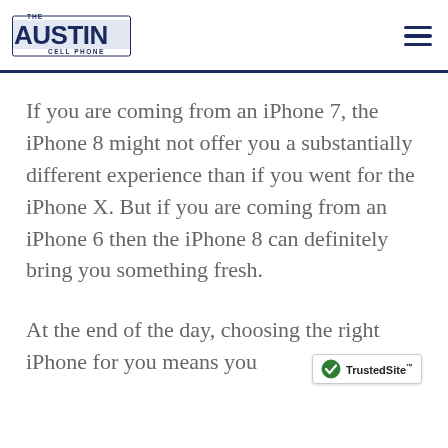Austin Cell Phone logo and navigation menu
If you are coming from an iPhone 7, the iPhone 8 might not offer you a substantially different experience than if you went for the iPhone X. But if you are coming from an iPhone 6 then the iPhone 8 can definitely bring you something fresh.
At the end of the day, choosing the right iPhone for you means you
[Figure (logo): TrustedSite badge with checkmark icon]